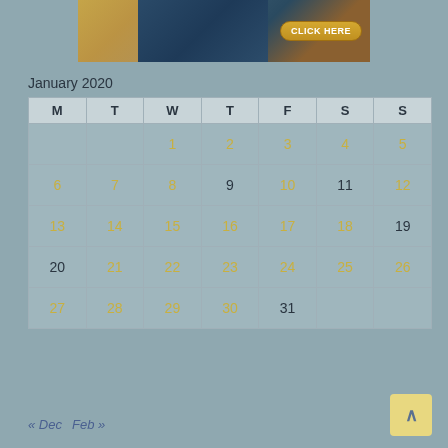[Figure (screenshot): Advertisement banner with a woman and a 'CLICK HERE' button on dark background]
January 2020
| M | T | W | T | F | S | S |
| --- | --- | --- | --- | --- | --- | --- |
|  |  | 1 | 2 | 3 | 4 | 5 |
| 6 | 7 | 8 | 9 | 10 | 11 | 12 |
| 13 | 14 | 15 | 16 | 17 | 18 | 19 |
| 20 | 21 | 22 | 23 | 24 | 25 | 26 |
| 27 | 28 | 29 | 30 | 31 |  |  |
« Dec   Feb »